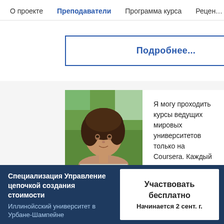О проекте   Преподаватели   Программа курса   Рецен…
Подробнее...
[Figure (photo): Portrait photo of a young woman with curly dark hair, outdoors with green background]
Я могу проходить курсы ведущих мировых университетов только на Coursera. Каждый день я узнаю что-то новое.
Специализация Управление цепочкой создания стоимости
Иллинойсский университет в Урбане-Шампейне
Участвовать бесплатно
Начинается 2 сент. г.